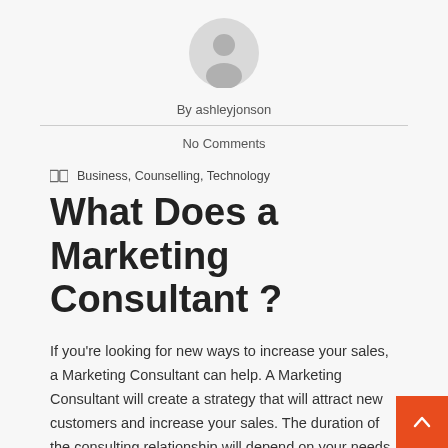[Figure (illustration): Grey circular avatar/profile icon placeholder]
By ashleyjonson
No Comments
Business, Counselling, Technology
What Does a Marketing Consultant ?
If you're looking for new ways to increase your sales, a Marketing Consultant can help. A Marketing Consultant will create a strategy that will attract new customers and increase your sales. The duration of the consulting relationship will depend on your needs, but it can be